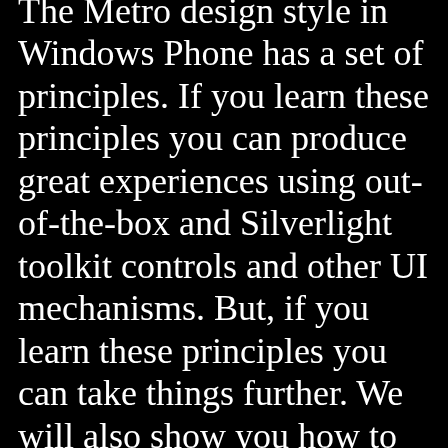The Metro design style in Windows Phone has a set of principles. If you learn these principles you can produce great experiences using out-of-the-box and Silverlight toolkit controls and other UI mechanisms. But, if you learn these principles you can take things further. We will also show you how to do this. For example, a lot of people think Metro apps need to have black background – wrong!